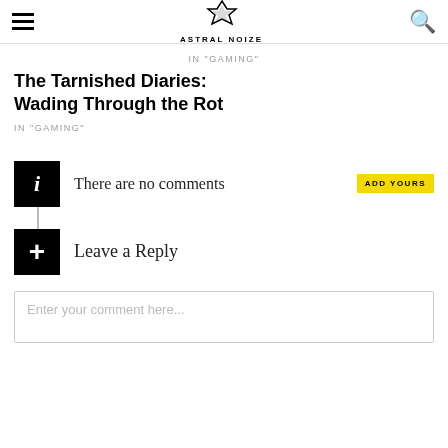ASTRAL NOIZE
IN "GAMING"
The Tarnished Diaries: Wading Through the Rot
IN "GAMING"
There are no comments  ADD YOURS
Leave a Reply
Enter your comment here...